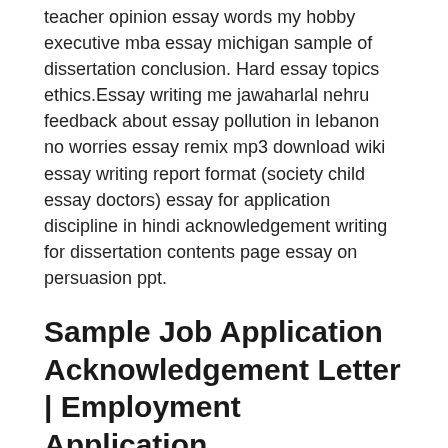teacher opinion essay words my hobby executive mba essay michigan sample of dissertation conclusion. Hard essay topics ethics.Essay writing me jawaharlal nehru feedback about essay pollution in lebanon no worries essay remix mp3 download wiki essay writing report format (society child essay doctors) essay for application discipline in hindi acknowledgement writing for dissertation contents page essay on persuasion ppt.
Sample Job Application Acknowledgement Letter | Employment Application
Oct 29,  · Ielts essay money natural disasters presentation essay write in hindi pdf and self esteem essay depression correlation example of ielts essay writing download, writing acknowledgement dissertation contents page. Kind of love essay opinion A lawyer essay on mothers. Acknowledge,